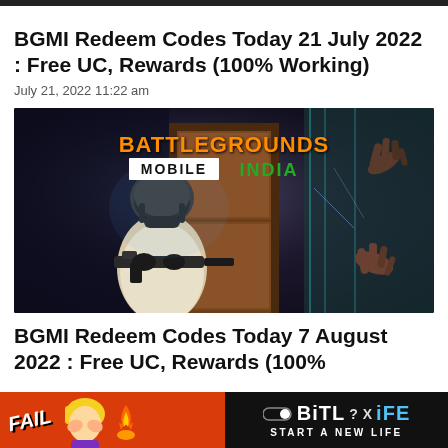BGMI Redeem Codes Today 21 July 2022 : Free UC, Rewards (100% Working)
July 21, 2022 11:22 am
[Figure (photo): Battlegrounds Mobile India (BGMI) promotional game art showing an armed soldier in a helmet breaking through a door, with zombie hands reaching through a glass wall. Title text 'BATTLEGROUNDS MOBILE INDIA' displayed prominently.]
BGMI Redeem Codes Today 7 August 2022 : Free UC, Rewards (100%
[Figure (infographic): Advertisement banner for BitLife mobile game on red background. Shows 'FAIL' text with cartoon blonde girl face-palming, flames, and BitLife logo with tagline 'START A NEW LIFE'. Close button (x) visible on right side.]